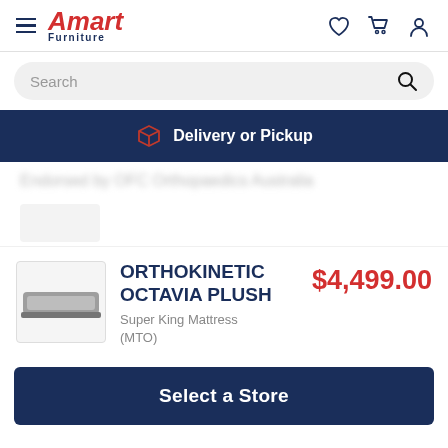[Figure (screenshot): Amart Furniture website header with hamburger menu, Amart Furniture logo in red italic, and icons for wishlist, cart, and user account on the right]
[Figure (screenshot): Search bar with placeholder text 'Search' and magnifying glass icon on dark background]
Delivery or Pickup
Endorsed by OFC Orthopaedics Australia
ORTHOKINETIC OCTAVIA PLUSH
Super King Mattress (MTO)
$4,499.00
Select a Store